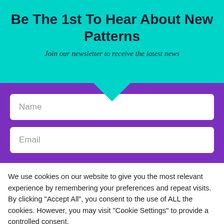Be The 1st To Hear About New Patterns
Join our newsletter to receive the latest news
Name
Email
We use cookies on our website to give you the most relevant experience by remembering your preferences and repeat visits. By clicking “Accept All”, you consent to the use of ALL the cookies. However, you may visit “Cookie Settings” to provide a controlled consent.
[Figure (screenshot): Walgreens Photo advertisement banner with Walgreens W logo, text 'Shop Walgreens Brand Walgreens Photo', and blue diamond arrow icon]